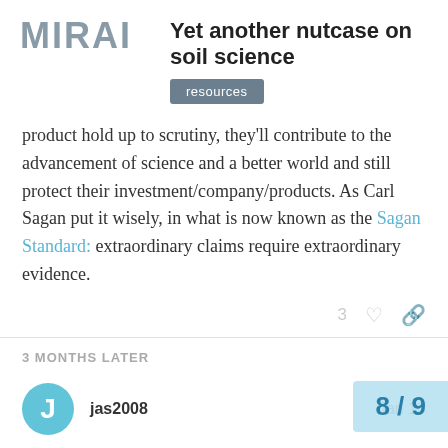[Figure (logo): MIRAI logo in grey block letters]
Yet another nutcase on soil science
resources
product hold up to scrutiny, they'll contribute to the advancement of science and a better world and still protect their investment/company/products. As Carl Sagan put it wisely, in what is now known as the Sagan Standard: extraordinary claims require extraordinary evidence.
3 MONTHS LATER
jas2008  Jan 13
BTW...there is a conversation on how steel plows led to the dustbowl...but mechanism cited is t were able to strip the soil more efficient
8 / 9